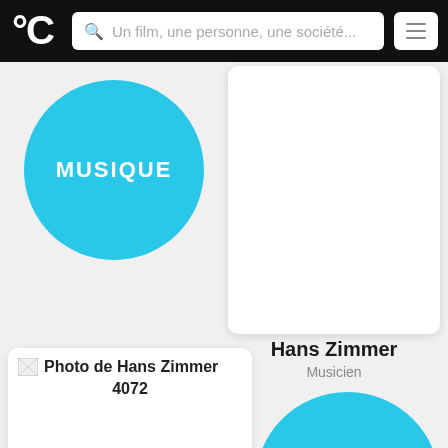CinéSérie — Un film, une personne, une société...
[Figure (illustration): Blue circle with white text MUSIQUE in the upper left area]
[Figure (photo): White card placeholder for Hans Zimmer photo]
Hans Zimmer
Musicien
Photo de Hans Zimmer 4072
[Figure (illustration): Blue half-circle at bottom right, partial MUSIQUE circle]